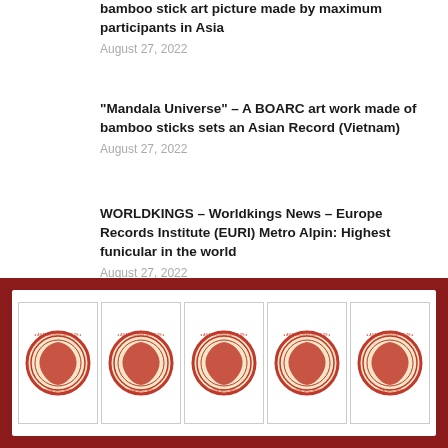bamboo stick art picture made by maximum participants in Asia
August 27, 2022
“Mandala Universe” – A BOARC art work made of bamboo sticks sets an Asian Record (Vietnam)
August 27, 2022
WORLDKINGS – Worldkings News – Europe Records Institute (EURI) Metro Alpin: Highest funicular in the world
August 27, 2022
[Figure (logo): Five circular BOARC/Asia Records Institute red stamp logos arranged in a row inside a white bordered box on a dark red background]